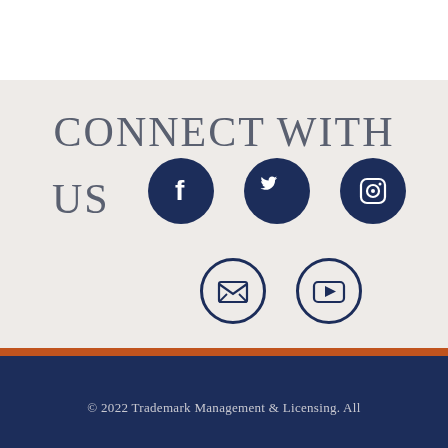CONNECT WITH US
[Figure (illustration): Five social media icon circles: Facebook, Twitter, Instagram (top row), Email/envelope and YouTube (bottom row). Top three are dark navy filled circles with white icons; bottom two are outlined dark navy circles with dark icons.]
© 2022 Trademark Management & Licensing. All